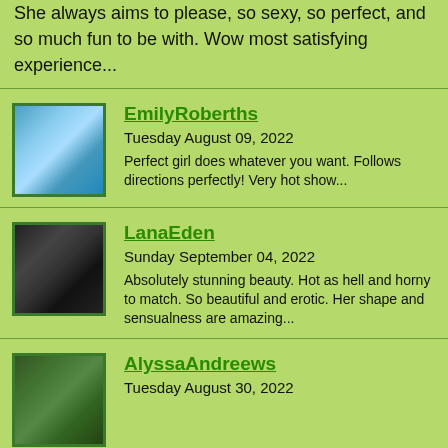She always aims to please, so sexy, so perfect, and so much fun to be with. Wow most satisfying experience...
EmilyRoberths
Tuesday August 09, 2022
Perfect girl does whatever you want. Follows directions perfectly! Very hot show...
LanaEden
Sunday September 04, 2022
Absolutely stunning beauty. Hot as hell and horny to match. So beautiful and erotic. Her shape and sensualness are amazing...
AlyssaAndreews
Tuesday August 30, 2022